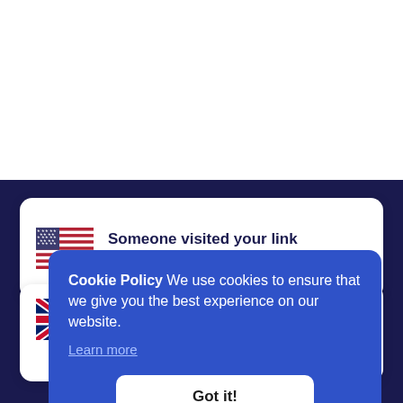Someone visited your link
New York, United States
Cookie Policy We use cookies to ensure that we give you the best experience on our website.
Learn more
Got it!
London, United Kingdom